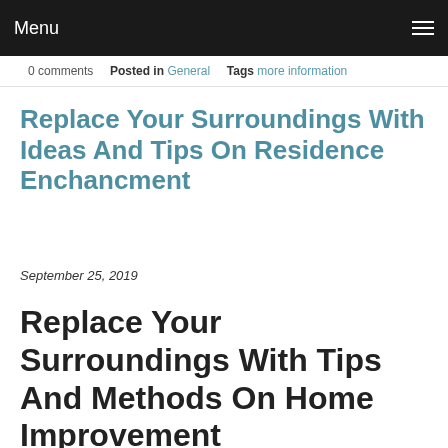Menu
0 comments   Posted in General   Tags more information
Replace Your Surroundings With Ideas And Tips On Residence Enchancment
September 25, 2019
Replace Your Surroundings With Tips And Methods On Home Improvement